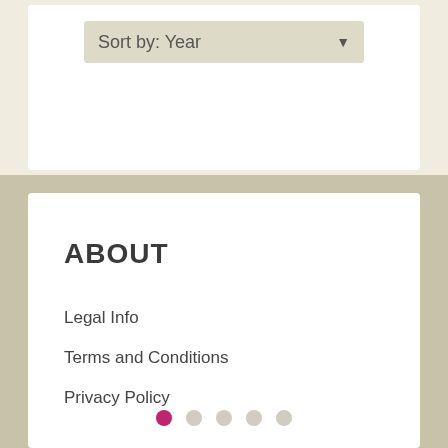Sort by: Year
ABOUT
Legal Info
Terms and Conditions
Privacy Policy